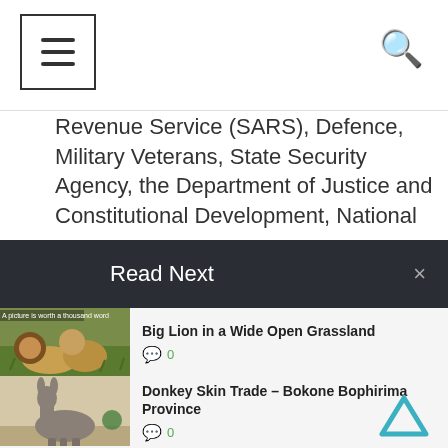Navigation bar with hamburger menu and search icon
Revenue Service (SARS), Defence, Military Veterans, State Security Agency, the Department of Justice and Constitutional Development, National
Read Next
[Figure (photo): Two lions in a grassy field with text overlay 'A picture is worth a thousand words']
Big Lion in a Wide Open Grassland
💬 0
[Figure (photo): A donkey standing on a dirt/sandy ground]
Donkey Skin Trade – Bokone Bophirima Province
💬 0